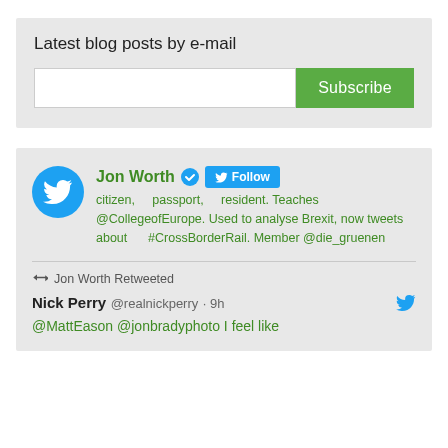Latest blog posts by e-mail
[Figure (screenshot): Email subscription input field with a white text box and a green Subscribe button]
[Figure (screenshot): Twitter widget showing Jon Worth's profile with avatar, verified badge, Follow button, bio text, a retweet indicator, Nick Perry's tweet starting with '@MattEason @jonbradyphoto I feel like']